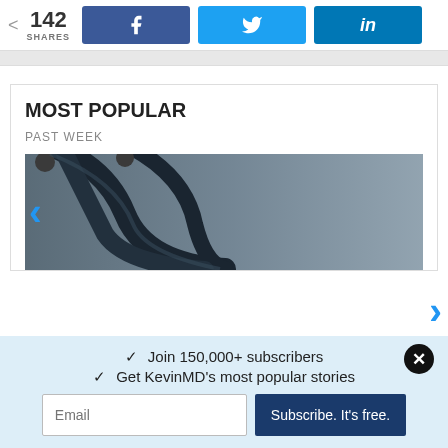142 SHARES | Facebook | Twitter | LinkedIn
MOST POPULAR
PAST WEEK
[Figure (photo): Close-up photo of a stethoscope on a gray surface]
✓ Join 150,000+ subscribers
✓ Get KevinMD's most popular stories
Email | Subscribe. It's free.